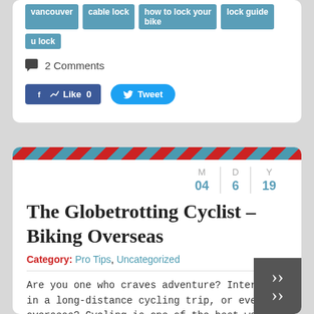vancouver
cable lock
how to lock your bike
lock guide
u lock
2 Comments
[Figure (screenshot): Facebook Like button (0 likes) and Twitter Tweet button]
The Globetrotting Cyclist – Biking Overseas
Category: Pro Tips, Uncategorized
Are you one who craves adventure? Interested in a long-distance cycling trip, or even one overseas? Cycling is one of the best ways to see a country... to quote a time-worn cliche, it